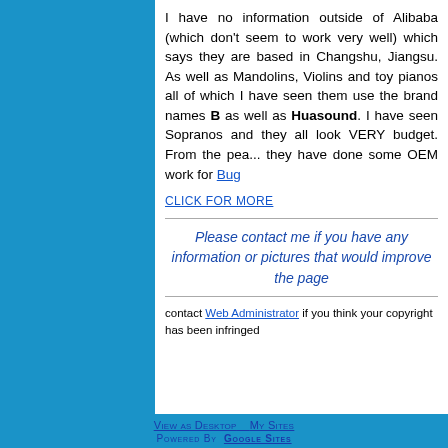I have no information outside of Alibaba (which don't seem to work very well) which says they are based in Changshu, Jiangsu. As well as Mandolins, Violins and toy pianos all of which I have seen them use the brand names B... as well as Huasound. I have seen Sopranos and they all look VERY budget. From the peaks they have done some OEM work for Bug...
CLICK FOR MORE
Please contact me if you have any information or pictures that would improve the page
contact Web Administrator if you think your copyright has been infringed
View as Desktop  My Sites
Powered By  Google Sites